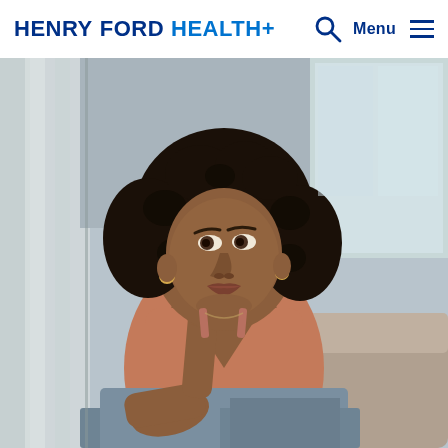HENRY FORD HEALTH+
[Figure (photo): A young Black woman with curly hair sitting indoors, resting her chin on her hand, looking thoughtfully to the side. She is wearing a salmon/rust colored sleeveless top and jeans. Soft natural light comes from a window behind her with white curtains.]